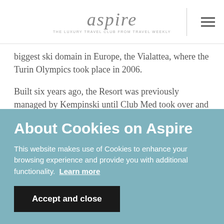aspire – The Luxury Travel Club from Travel Weekly
biggest ski domain in Europe, the Vialattea, where the Turin Olympics took place in 2006.
Built six years ago, the Resort was previously managed by Kempinski until Club Med took over and invested in the refurbishment of the resort.
Refurbishment work includes two new restaurants, a bar
About Cookies on Aspire
This website makes use of Cookies to enhance your browsing experience and provide you with additional functionality.  Learn more
Accept and close